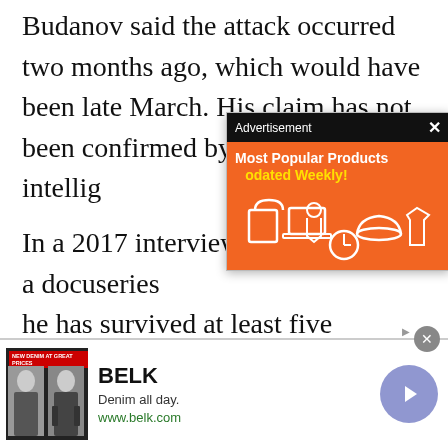Budanov said the attack occurred two months ago, which would have been late March. His claim has not been confirmed by any western intellig [obscured] In a 2017 interview with [obscured] Stone for a docuseries [obscured] he has survived at least five attempts at his life. While this is a high number, it is [cut off]
[Figure (screenshot): Advertisement popup overlay with orange background showing 'Most Popular Products Updated Weekly!' with shopping icons]
[Figure (screenshot): Bottom banner advertisement for BELK - 'Denim all day. www.belk.com' with fashion imagery and navigation arrow]